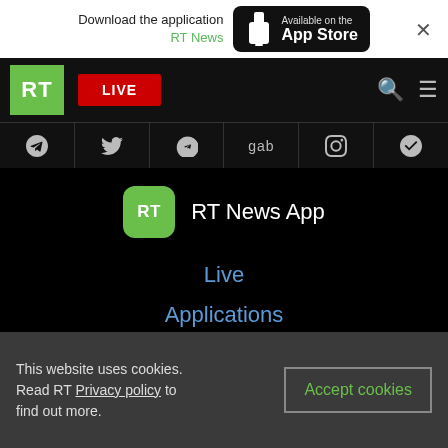[Figure (screenshot): App store download banner: 'Download the application RT News' with Available on the App Store button and close X]
[Figure (logo): RT logo green square with white RT text, LIVE red button, search and menu icons]
[Figure (infographic): Social media icons bar: Telegram, Twitter, VK, gab, Facebook, globe]
[Figure (logo): RT News App icon with app name text]
Live
Applications
Where to watch
This website uses cookies. Read RT Privacy policy to find out more.
Accept cookies